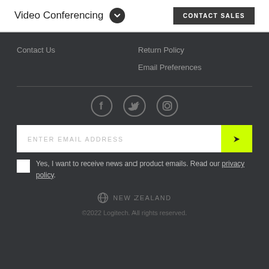Video Conferencing   CONTACT SALES
Contact Us
Return Policy
Email Preferences
[Figure (infographic): Social media icons: Facebook, Twitter, Instagram]
ENTER EMAIL ADDRESS
Yes, I want to receive news and product emails. Read our privacy policy.
NEW ZEALAND
©2022 Logitech. All rights reserved.